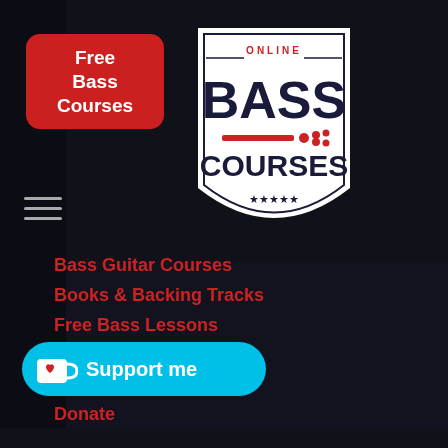Free Bass Courses
[Figure (logo): Online Bass Courses shield logo with dark blue text 'BASS COURSES', small red guitar, stars at bottom]
Bass Guitar Courses
Books & Backing Tracks
Free Bass Lessons
UK Amazon Store
US Amazon Store
Donate
[Figure (infographic): Cyan 'Support me' button with coffee cup icon containing a heart]